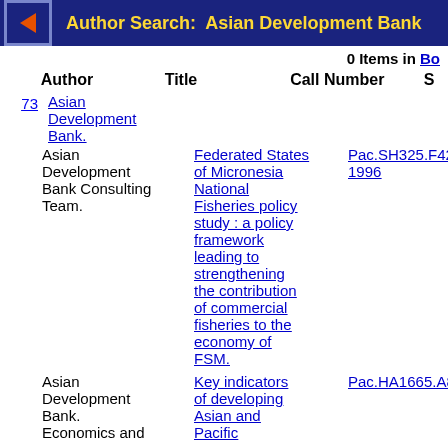Author Search: Asian Development Bank
0 Items in Bookbag
| # | Author | Title | Call Number | S |
| --- | --- | --- | --- | --- |
| 73 | Asian Development Bank. |  |  |  |
|  | Asian Development Bank Consulting Team. | Federated States of Micronesia National Fisheries policy study : a policy framework leading to strengthening the contribution of commercial fisheries to the economy of FSM. | Pac.SH325.F42A4 1996 | Il |
|  | Asian Development Bank.
Economics and | Key indicators of developing Asian and Pacific | Pac.HA1665.A84 | Il |